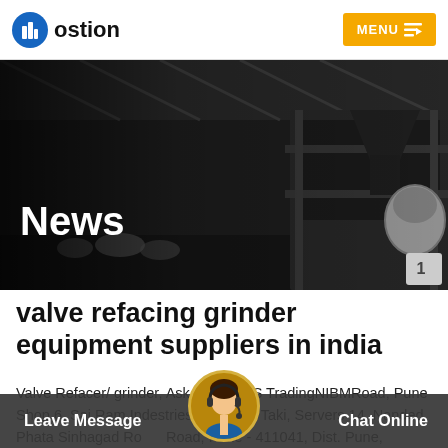[Figure (logo): Hostion logo with blue building icon and text 'ostion']
[Figure (photo): Industrial factory/warehouse interior with heavy machinery, dark semi-transparent overlay, 'News' label text overlay]
valve refacing grinder equipment suppliers in india
Valve Refacer/ grinder, Ask Price KMS TradingNIBMRoad, Pune Shop 6, Sai Ram Indestries, Rani Taki, Servers 14, Nanded Phata Sinhagad Road, Pune - 411041, Dist. Pune, Maharashtra
[Figure (photo): Customer support agent avatar with headset, circular cutout on chat bar]
Leave Message   Chat Online